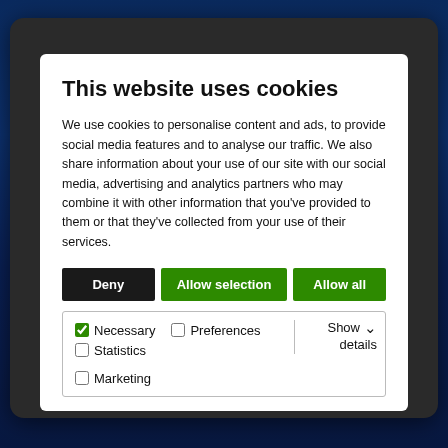[Figure (screenshot): Cookie consent modal dialog on a dark blue website background with building imagery]
This website uses cookies
We use cookies to personalise content and ads, to provide social media features and to analyse our traffic. We also share information about your use of our site with our social media, advertising and analytics partners who may combine it with other information that you've provided to them or that they've collected from your use of their services.
Deny | Allow selection | Allow all
Necessary  Preferences  Statistics  Marketing  Show details